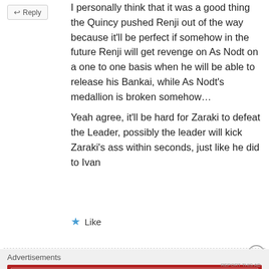↩ Reply
I personally think that it was a good thing the Quincy pushed Renji out of the way because it'll be perfect if somehow in the future Renji will get revenge on As Nodt on a one to one basis when he will be able to release his Bankai, while As Nodt's medallion is broken somehow…
Yeah agree, it'll be hard for Zaraki to defeat the Leader, possibly the leader will kick Zaraki's ass within seconds, just like he did to Ivan
★ Like
Advertisements
[Figure (other): Longreads advertisement banner in red with tagline: The best stories on the web — ours, and everyone else's.]